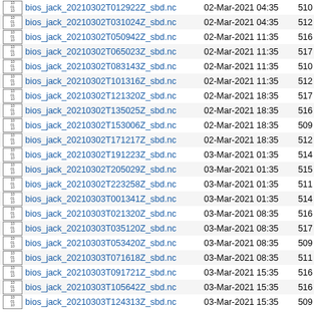bios_jack_20210302T012922Z_sbd.nc  02-Mar-2021 04:35  510
bios_jack_20210302T031024Z_sbd.nc  02-Mar-2021 04:35  512
bios_jack_20210302T050942Z_sbd.nc  02-Mar-2021 11:35  516
bios_jack_20210302T065023Z_sbd.nc  02-Mar-2021 11:35  517
bios_jack_20210302T083143Z_sbd.nc  02-Mar-2021 11:35  510
bios_jack_20210302T101316Z_sbd.nc  02-Mar-2021 11:35  512
bios_jack_20210302T121320Z_sbd.nc  02-Mar-2021 18:35  517
bios_jack_20210302T135025Z_sbd.nc  02-Mar-2021 18:35  516
bios_jack_20210302T153006Z_sbd.nc  02-Mar-2021 18:35  509
bios_jack_20210302T171217Z_sbd.nc  02-Mar-2021 18:35  512
bios_jack_20210302T191223Z_sbd.nc  03-Mar-2021 01:35  514
bios_jack_20210302T205029Z_sbd.nc  03-Mar-2021 01:35  515
bios_jack_20210302T223258Z_sbd.nc  03-Mar-2021 01:35  511
bios_jack_20210303T001341Z_sbd.nc  03-Mar-2021 01:35  514
bios_jack_20210303T021320Z_sbd.nc  03-Mar-2021 08:35  516
bios_jack_20210303T035120Z_sbd.nc  03-Mar-2021 08:35  517
bios_jack_20210303T053420Z_sbd.nc  03-Mar-2021 08:35  509
bios_jack_20210303T071618Z_sbd.nc  03-Mar-2021 08:35  511
bios_jack_20210303T091721Z_sbd.nc  03-Mar-2021 15:35  516
bios_jack_20210303T105642Z_sbd.nc  03-Mar-2021 15:35  516
bios_jack_20210303T124313Z_sbd.nc  03-Mar-2021 15:35  509